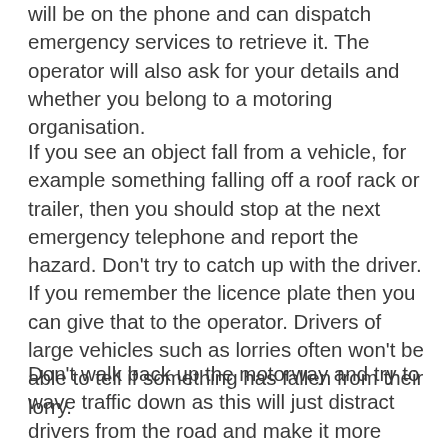will be on the phone and can dispatch emergency services to retrieve it. The operator will also ask for your details and whether you belong to a motoring organisation.
If you see an object fall from a vehicle, for example something falling off a roof rack or trailer, then you should stop at the next emergency telephone and report the hazard. Don't try to catch up with the driver. If you remember the licence plate then you can give that to the operator. Drivers of large vehicles such as lorries often won't be able to tell if something has fallen from their lorry.
Don't walk back up the motorway and try to wave traffic down as this will just distract drivers from the road and make it more likely that they will hit the obstacle.